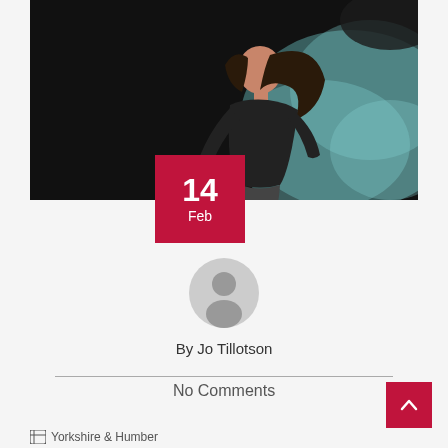[Figure (photo): Dancer in black outfit leaning forward dramatically against a dark background with teal/green smoke cloud on the right side]
14
Feb
[Figure (illustration): Circular grey default user avatar silhouette icon]
By Jo Tillotson
No Comments
Yorkshire & Humber